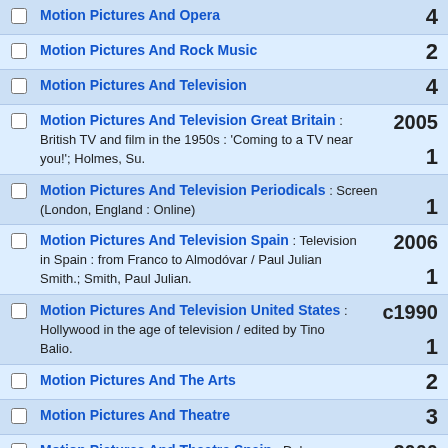Motion Pictures And Opera : 4
Motion Pictures And Rock Music : 2
Motion Pictures And Television : 4
Motion Pictures And Television Great Britain : British TV and film in the 1950s : 'Coming to a TV near you!'; Holmes, Su. 2005 : 1
Motion Pictures And Television Periodicals : Screen (London, England : Online) : 1
Motion Pictures And Television Spain : Television in Spain : from Franco to Almodóvar / Paul Julian Smith.; Smith, Paul Julian. 2006 : 1
Motion Pictures And Television United States : Hollywood in the age of television / edited by Tino Balio. c1990 : 1
Motion Pictures And The Arts : 2
Motion Pictures And Theatre : 3
Motion Pictures And Theatre Spain : Del escenario a la pantalla : la adaptación cinematográfica del teatro español.; Gómez, María Asunción. 2000 : 1
Motion Pictures And Transnationalism : 4
Motion Pictures And Video Games : Gaming film : how games are reshaping contemporary cinema / 2013 : 1